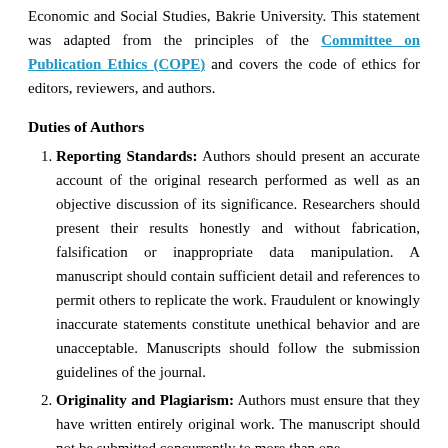Economic and Social Studies, Bakrie University. This statement was adapted from the principles of the Committee on Publication Ethics (COPE) and covers the code of ethics for editors, reviewers, and authors.
Duties of Authors
Reporting Standards: Authors should present an accurate account of the original research performed as well as an objective discussion of its significance. Researchers should present their results honestly and without fabrication, falsification or inappropriate data manipulation. A manuscript should contain sufficient detail and references to permit others to replicate the work. Fraudulent or knowingly inaccurate statements constitute unethical behavior and are unacceptable. Manuscripts should follow the submission guidelines of the journal.
Originality and Plagiarism: Authors must ensure that they have written entirely original work. The manuscript should not be submitted concurrently to more than one